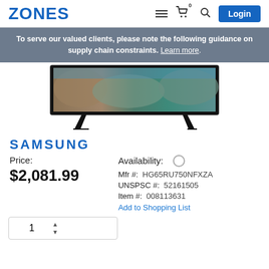ZONES — navigation header with menu, cart (0), search, and Login button
To serve our valued clients, please note the following guidance on supply chain constraints. Learn more.
[Figure (photo): Samsung 65-inch 4K TV product photo on white background with stand]
SAMSUNG
Price:
$2,081.99
Availability:
Mfr #:  HG65RU750NFXZA
UNSPSC #:  52161505
Item #:  008113631
Add to Shopping List
1 (quantity input with up/down arrows)